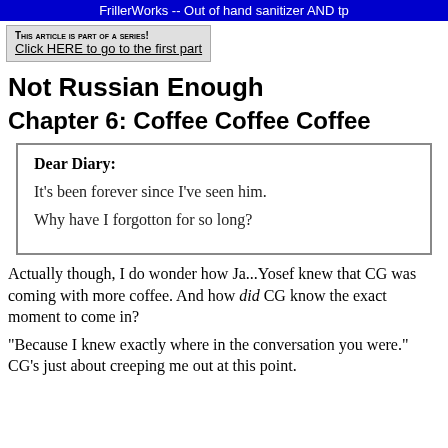FrillerWorks -- Out of hand sanitizer AND tp
THIS ARTICLE IS PART OF A SERIES!
Click HERE to go to the first part
Not Russian Enough
Chapter 6: Coffee Coffee Coffee
Dear Diary:

It's been forever since I've seen him.

Why have I forgotton for so long?
Actually though, I do wonder how Ja...Yosef knew that CG was coming with more coffee. And how did CG know the exact moment to come in?
"Because I knew exactly where in the conversation you were." CG's just about creeping me out at this point.